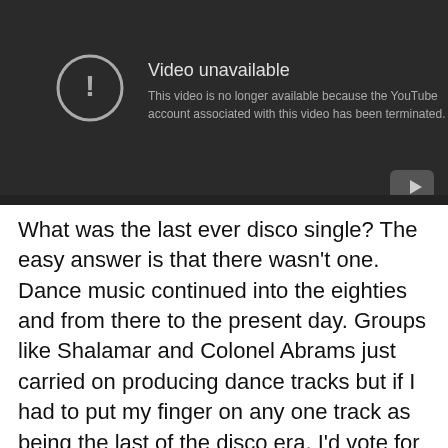[Figure (screenshot): YouTube video unavailable screen with dark background. Shows a circle with exclamation mark icon, text 'Video unavailable' and 'This video is no longer available because the YouTube account associated with this video has been terminated.' YouTube play button icon in bottom right corner.]
What was the last ever disco single? The easy answer is that there wasn't one. Dance music continued into the eighties and from there to the present day. Groups like Shalamar and Colonel Abrams just carried on producing dance tracks but if I had to put my finger on any one track as being the last of the disco era, I'd vote for I'm Coming Out by Diana Ross, released in 1980 when flared trousers were making way for drainpipes and when ties and shirt